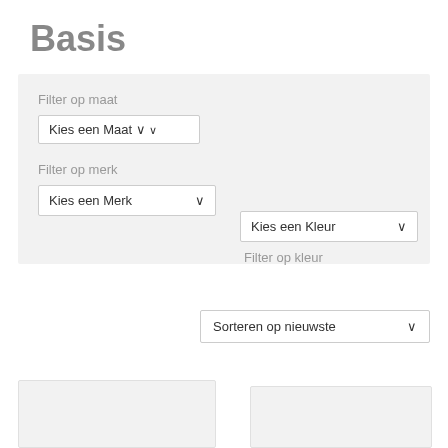Basis
Filter op maat
Kies een Maat ∨
Filter op merk
Kies een Merk ∨
Filter op kleur
Kies een Kleur ∨
Sorteren op nieuwste ∨